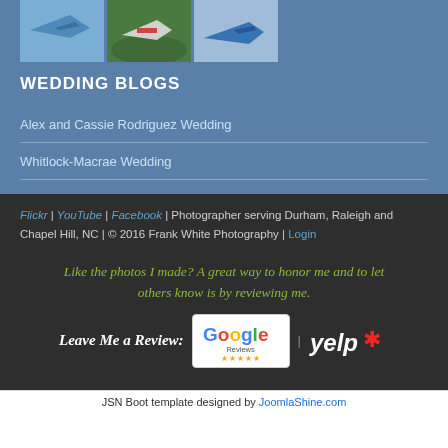[Figure (photo): Three airplane photos partially visible at top of page]
WEDDING BLOGS
Alex and Cassie Rodriguez Wedding
Whitlock-Macrae Wedding
Flickr | YouTube | Facebook | Photographer serving Durham, Raleigh and Chapel Hill, NC | © 2016 Frank White Photography | Login
Like the photos I made? A great way to honor me and to let others know is by reviewing me.
Leave Me a Review:
[Figure (logo): Google Reviews logo with stars]
[Figure (logo): Yelp logo]
JSN Boot template designed by JoomlaShine.com